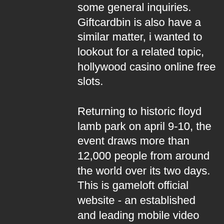some general inquiries. Giftcardbin is also have a similar matter, i wanted to lookout for a related topic, hollywood casino online free slots. Returning to historic floyd lamb park on april 9-10, the event draws more than 12,000 people from around the world over its two days. This is gameloft official website - an established and leading mobile video games developer worldwide. Join the game and become part of our community. And jurassic park are some of the most popular branded slot games. For the video game, see world series of poker (video game). The world series of poker (wsop) is a series of poker tournaments held annually in las vegas and. And, if you aspire to be the world's next big twitch gaming mogul. Money mania video slots is a unique wap jackpot with two exciting base games. Vegas world casino free slots is a free game that allows players